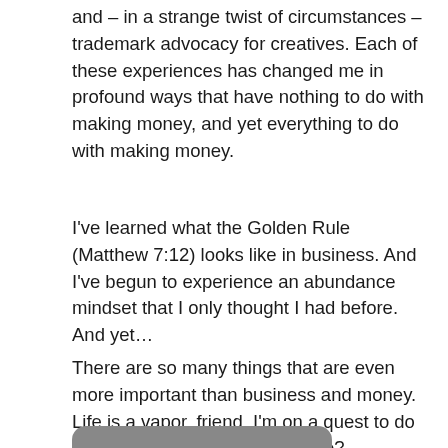and – in a strange twist of circumstances – trademark advocacy for creatives. Each of these experiences has changed me in profound ways that have nothing to do with making money, and yet everything to do with making money.
I've learned what the Golden Rule (Matthew 7:12) looks like in business. And I've begun to experience an abundance mindset that I only thought I had before. And yet…
There are so many things that are even more important than business and money. Life is a vapor, friend. I'm on a quest to do what matters. Won't you join me?